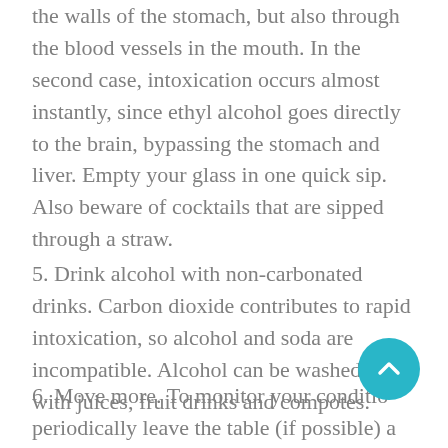the walls of the stomach, but also through the blood vessels in the mouth. In the second case, intoxication occurs almost instantly, since ethyl alcohol goes directly to the brain, bypassing the stomach and liver. Empty your glass in one quick sip. Also beware of cocktails that are sipped through a straw.
5. Drink alcohol with non-carbonated drinks. Carbon dioxide contributes to rapid intoxication, so alcohol and soda are incompatible. Alcohol can be washed down with juices, fruit drinks and compotes.
6. Move more. To monitor your condition, periodically leave the table (if possible) and go out to breathe in the fresh air.